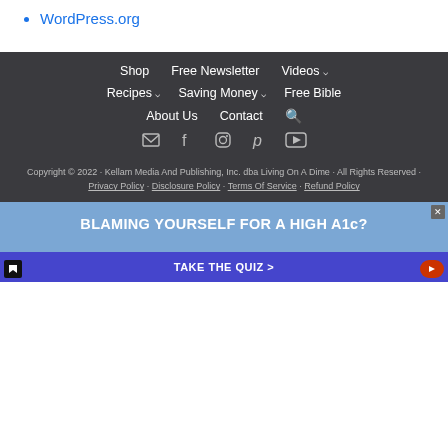WordPress.org
Shop | Free Newsletter | Videos | Recipes | Saving Money | Free Bible | About Us | Contact | [social icons: email, facebook, instagram, pinterest, youtube]
Copyright © 2022 · Kellam Media And Publishing, Inc. dba Living On A Dime · All Rights Reserved · Privacy Policy · Disclosure Policy · Terms Of Service · Refund Policy
BLAMING YOURSELF FOR A HIGH A1c?
TAKE THE QUIZ >